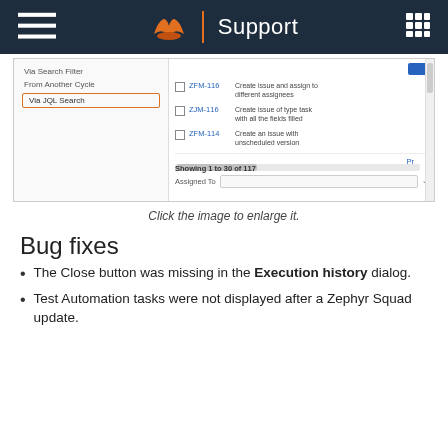Support
[Figure (screenshot): Screenshot of a support tool interface showing a JQL Search panel with menu options (Via Search Filter, From Another Cycle, Via JQL Search highlighted in orange border), and a list of issues: ZFM-116 Create issue and assign to different assignees, ZJM-116 Create issue of type task with all the fields filled, ZFM-114 Create an issue with unscheduled version. Shows Showing 1 to 30 of 117, Assigned To dropdown.]
Click the image to enlarge it.
Bug fixes
The Close button was missing in the Execution history dialog.
Test Automation tasks were not displayed after a Zephyr Squad update.